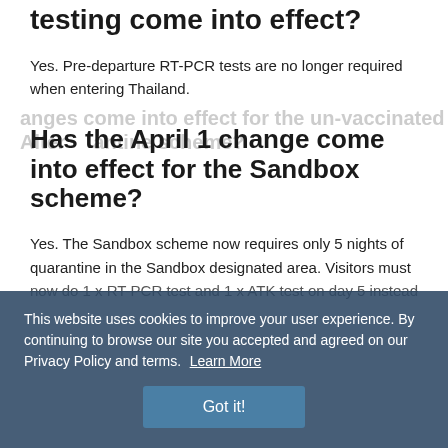testing come into effect?
Yes. Pre-departure RT-PCR tests are no longer required when entering Thailand.
Has the April 1 change come into effect for the Sandbox scheme?
Yes. The Sandbox scheme now requires only 5 nights of quarantine in the Sandbox designated area. Visitors must now do 1 x RT-PCR test and 1 x ATK test on day 5 instead of a better [partially obscured by cookie banner]
This website uses cookies to improve your user experience. By continuing to browse our site you accepted and agreed on our Privacy Policy and terms. Learn More Got it!
anges come into effect for the un-vaccinated Alter antine scheme?